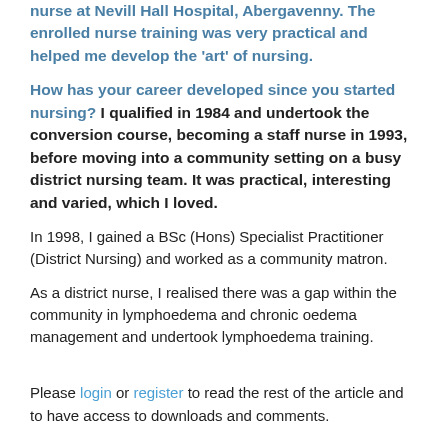nurse at Nevill Hall Hospital, Abergavenny. The enrolled nurse training was very practical and helped me develop the 'art' of nursing.
How has your career developed since you started nursing? I qualified in 1984 and undertook the conversion course, becoming a staff nurse in 1993, before moving into a community setting on a busy district nursing team. It was practical, interesting and varied, which I loved.
In 1998, I gained a BSc (Hons) Specialist Practitioner (District Nursing) and worked as a community matron.
As a district nurse, I realised there was a gap within the community in lymphoedema and chronic oedema management and undertook lymphoedema training.
Please login or register to read the rest of the article and to have access to downloads and comments.
What do you think? Leave a comment below or tweet your